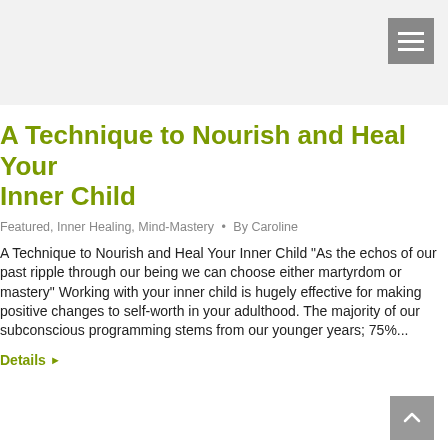A Technique to Nourish and Heal Your Inner Child
Featured, Inner Healing, Mind-Mastery · By Caroline
A Technique to Nourish and Heal Your Inner Child "As the echos of our past ripple through our being we can choose either martyrdom or mastery" Working with your inner child is hugely effective for making positive changes to self-worth in your adulthood. The majority of our subconscious programming stems from our younger years; 75%...
Details ▶